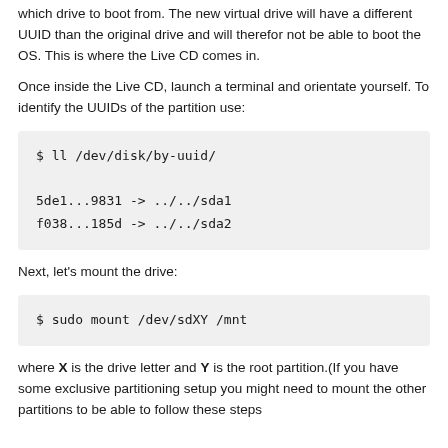which drive to boot from. The new virtual drive will have a different UUID than the original drive and will therefor not be able to boot the OS. This is where the Live CD comes in.
Once inside the Live CD, launch a terminal and orientate yourself. To identify the UUIDs of the partition use:
$ ll /dev/disk/by-uuid/

5de1...9831 -> ../../sda1
f038...185d -> ../../sda2
Next, let's mount the drive:
$ sudo mount /dev/sdXY /mnt
where X is the drive letter and Y is the root partition.(If you have some exclusive partitioning setup you might need to mount the other partitions to be able to follow these steps